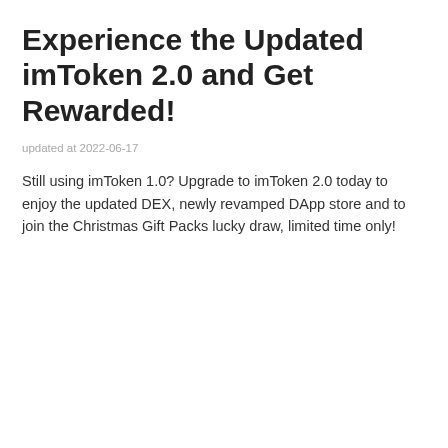Experience the Updated imToken 2.0 and Get Rewarded!
updated at 2022-06-17
Still using imToken 1.0? Upgrade to imToken 2.0 today to enjoy the updated DEX, newly revamped DApp store and to join the Christmas Gift Packs lucky draw, limited time only!